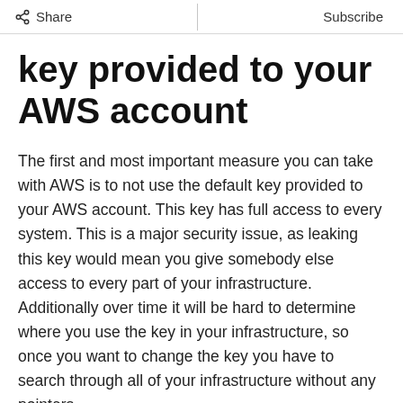Share | Subscribe
key provided to your AWS account
The first and most important measure you can take with AWS is to not use the default key provided to your AWS account. This key has full access to every system. This is a major security issue, as leaking this key would mean you give somebody else access to every part of your infrastructure. Additionally over time it will be hard to determine where you use the key in your infrastructure, so once you want to change the key you have to search through all of your infrastructure without any pointers.